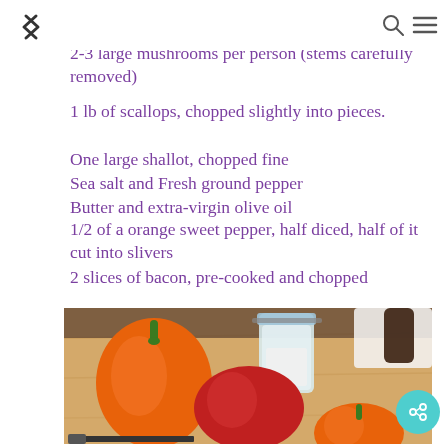The Recipe!
The Recipe!
2-3 large mushrooms per person (stems carefully removed)
1 lb of scallops, chopped slightly into pieces.
One large shallot, chopped fine
Sea salt and Fresh ground pepper
Butter and extra-virgin olive oil
1/2 of a orange sweet pepper, half diced, half of it cut into slivers
2 slices of bacon, pre-cooked and chopped
[Figure (photo): Bell peppers (orange, red) and a glass jar with salt on a wooden cutting board]